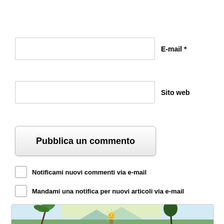E-mail *
Sito web
Pubblica un commento
Notificami nuovi commenti via e-mail
Mandami una notifica per nuovi articoli via e-mail
[Figure (illustration): A colorful vintage illustration depicting a tropical landscape with palm trees, mountains in the background, a bright sun with a face, and a figure in the foreground, rendered in pastel greens, blues, and yellows.]